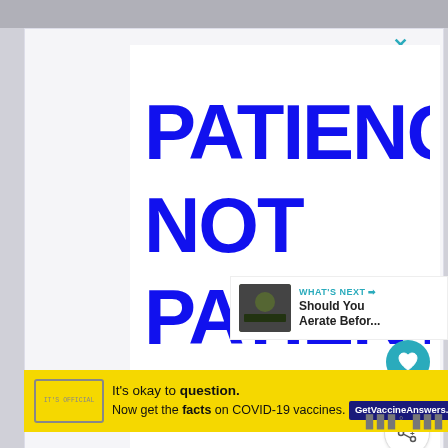[Figure (infographic): White image with large bold blue text reading PATIENCE NOT PATIENTS and the hashtag #HelpByDesign at the bottom center]
#HelpByDesign
WHAT'S NEXT → Should You Aerate Befor...
It's okay to question. Now get the facts on COVID-19 vaccines. GetVaccineAnswers.org